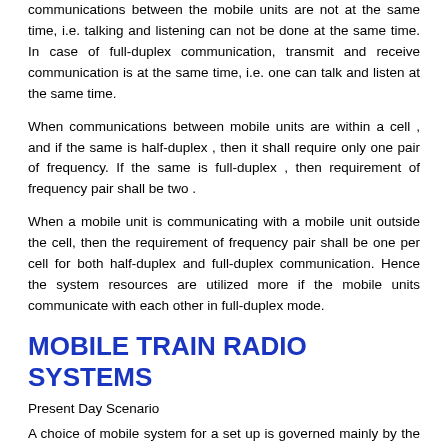communications between the mobile units are not at the same time, i.e. talking and listening can not be done at the same time. In case of full-duplex communication, transmit and receive communication is at the same time, i.e. one can talk and listen at the same time.
When communications between mobile units are within a cell , and if the same is half-duplex , then it shall require only one pair of frequency. If the same is full-duplex , then requirement of frequency pair shall be two .
When a mobile unit is communicating with a mobile unit outside the cell, then the requirement of frequency pair shall be one per cell for both half-duplex and full-duplex communication. Hence the system resources are utilized more if the mobile units communicate with each other in full-duplex mode.
MOBILE TRAIN RADIO SYSTEMS
Present Day Scenario
A choice of mobile system for a set up is governed mainly by the following facts.